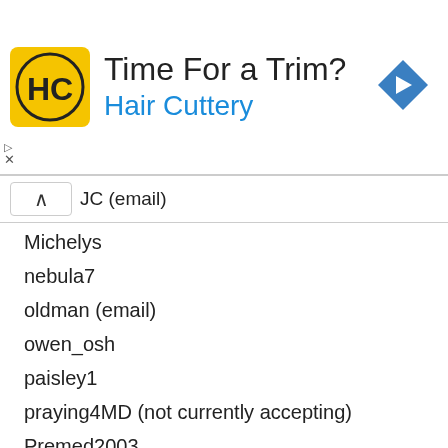[Figure (infographic): Advertisement banner for Hair Cuttery with logo, text 'Time For a Trim?' and 'Hair Cuttery', navigation arrow icon, play and close controls]
JC (email)
Michelys
nebula7
oldman (email)
owen_osh
paisley1
praying4MD (not currently accepting)
Premed2003
relatively prime (no more until July 7th)
Rezul
rxfudd
Ruban
SilverCholla
Smoke This
SMW
souljah1
sunflower79